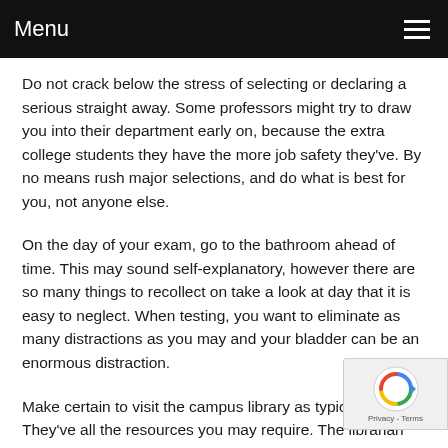Menu
Do not crack below the stress of selecting or declaring a serious straight away. Some professors might try to draw you into their department early on, because the extra college students they have the more job safety they've. By no means rush major selections, and do what is best for you, not anyone else.
On the day of your exam, go to the bathroom ahead of time. This may sound self-explanatory, however there are so many things to recollect on take a look at day that it is easy to neglect. When testing, you want to eliminate as many distractions as you may and your bladder can be an enormous distraction.
Make certain to visit the campus library as typically as po... They've all the resources you may require. The librarian ... your best good friend, guiding you to all of the stuff you would